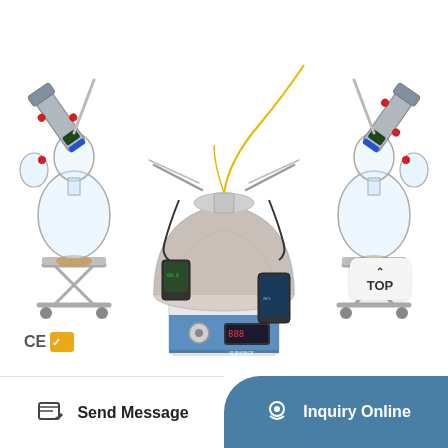[Figure (photo): Laboratory short-path distillation apparatus with central domed heating mantle on a base unit with blue panel and digital display, flanked by two large round-bottom flasks on scissor-jack stands, with multiple condenser columns and tubing connected at the top, and a CE certification mark visible at the lower left.]
Send Message
Inquiry Online